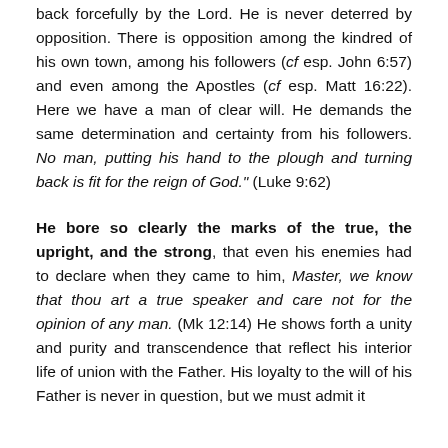back forcefully by the Lord. He is never deterred by opposition. There is opposition among the kindred of his own town, among his followers (cf esp. John 6:57) and even among the Apostles (cf esp. Matt 16:22). Here we have a man of clear will. He demands the same determination and certainty from his followers. No man, putting his hand to the plough and turning back is fit for the reign of God." (Luke 9:62)
He bore so clearly the marks of the true, the upright, and the strong, that even his enemies had to declare when they came to him, Master, we know that thou art a true speaker and care not for the opinion of any man. (Mk 12:14) He shows forth a unity and purity and transcendence that reflect his interior life of union with the Father. His loyalty to the will of his Father is never in question, but we must admit it